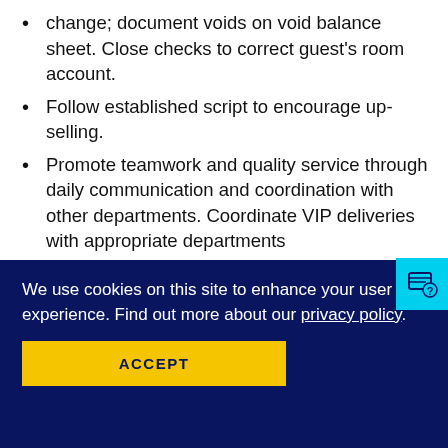change; document voids on void balance sheet. Close checks to correct guest's room account.
Follow established script to encourage up-selling.
Promote teamwork and quality service through daily communication and coordination with other departments. Coordinate VIP deliveries with appropriate departments
Perform other duties as assigned
Answer the telephone as per brand standards. Efficiently and professionally handle multiple incoming calls at once.
Articulate and repeat each order to the guest befor…
We use cookies on this site to enhance your user experience. Find out more about our privacy policy.
ACCEPT